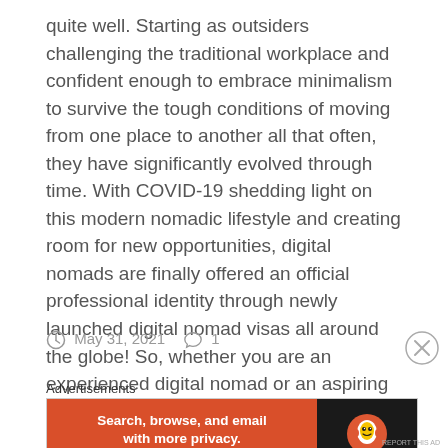quite well. Starting as outsiders challenging the traditional workplace and confident enough to embrace minimalism to survive the tough conditions of moving from one place to another all that often, they have significantly evolved through time. With COVID-19 shedding light on this modern nomadic lifestyle and creating room for new opportunities, digital nomads are finally offered an official professional identity through newly launched digital nomad visas all around the globe! So, whether you are an experienced digital nomad or an aspiring one, here you'll find everything you need to know to start planning your next trip.
May 31, 2021   1
Advertisements
[Figure (other): DuckDuckGo advertisement banner: orange left side with text 'Search, browse, and email with more privacy. All in One Free App' and dark right side with DuckDuckGo duck logo and brand name.]